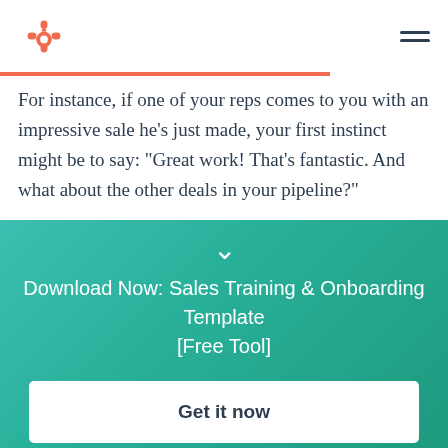HubSpot logo and navigation menu
For instance, if one of your reps comes to you with an impressive sale he's just made, your first instinct might be to say: "Great work! That's fantastic. And what about the other deals in your pipeline?"
Instead, to use positive reinforcement, dwell for a moment on the victory, by saying something like, "Great work! That's fantastic. Tell me a little more
[Figure (infographic): Teal gradient overlay with chevron/down arrow, CTA text and button]
Download Now: Sales Training & Onboarding Template [Free Tool]
Get it now